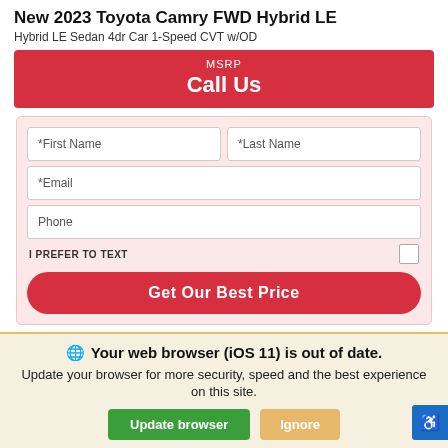New 2023 Toyota Camry FWD Hybrid LE
Hybrid LE Sedan 4dr Car 1-Speed CVT w/OD
MSRP
Call Us
*First Name
*Last Name
*Email
Phone
I PREFER TO TEXT
Get Our Best Price
Your web browser (iOS 11) is out of date. Update your browser for more security, speed and the best experience on this site.
Update browser
Ignore